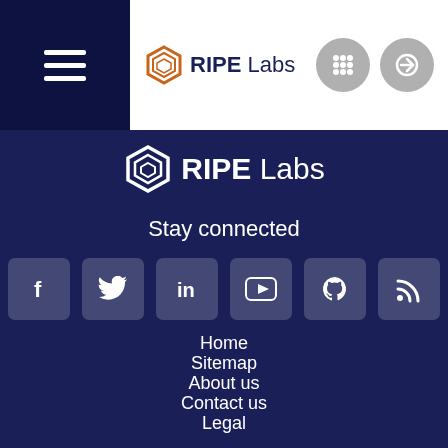RIPE Labs — navigation header with hamburger menu, logo, grid icon, and login icon
[Figure (logo): RIPE Labs logo with hexagon icon — white text on dark navy footer background]
Stay connected
[Figure (infographic): Row of 6 social media icons: Facebook, Twitter, LinkedIn, YouTube, GitHub, RSS]
Home
Sitemap
About us
Contact us
Legal
Subscribe to our newsletter